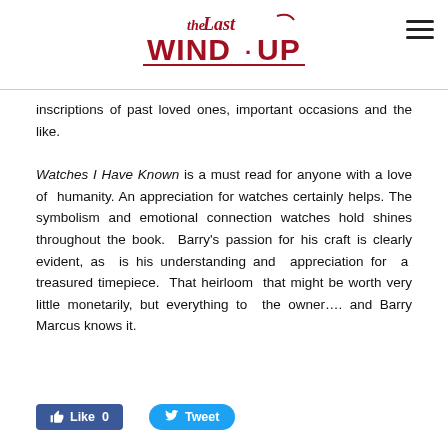The Last Wind-Up
inscriptions of past loved ones, important occasions and the like.
Watches I Have Known is a must read for anyone with a love of humanity. An appreciation for watches certainly helps. The symbolism and emotional connection watches hold shines throughout the book. Barry's passion for his craft is clearly evident, as is his understanding and appreciation for a treasured timepiece. That heirloom that might be worth very little monetarily, but everything to the owner.... and Barry Marcus knows it.
[Figure (other): Like 0 Facebook button and Tweet Twitter button]